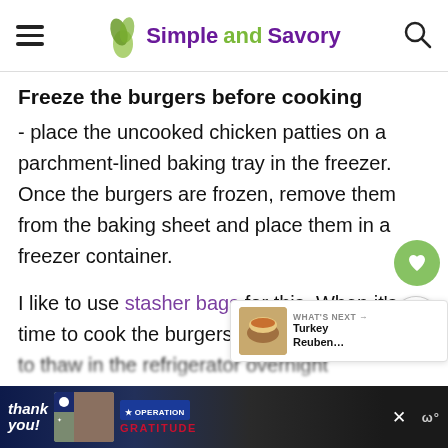Simple and Savory (website header with logo, hamburger menu, search icon)
Freeze the burgers before cooking
- place the uncooked chicken patties on a parchment-lined baking tray in the freezer. Once the burgers are frozen, remove them from the baking sheet and place them in a freezer container.

I like to use stasher bags for this. When it's time to cook the burgers, allow them to thaw in the refrigerator overnight.
[Figure (other): Operation Gratitude advertisement banner at the bottom of the page]